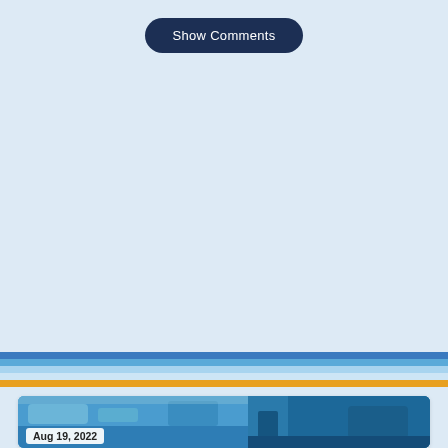Show Comments
[Figure (illustration): Horizontal decorative stripe band with multiple colored stripes: dark blue, medium blue, light blue, very light blue, and orange.]
[Figure (photo): Partial view of a card with a photo thumbnail showing a pool or outdoor scene with blue water, with a date badge reading 'Aug 19, 2022' in the lower left corner.]
Aug 19, 2022